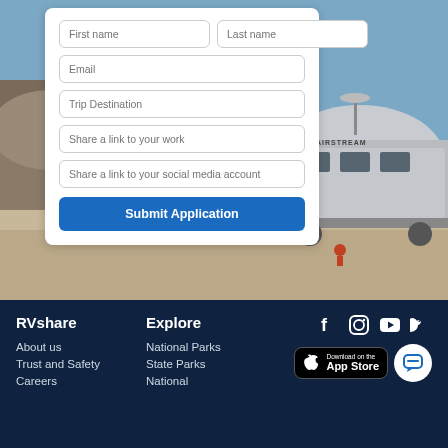[Figure (photo): Background photo showing an Airstream trailer in a rocky outdoor landscape with blue sky]
First name
Last name
Email
Trip Destination
Share a link to your work
Share a link to your social media account
Submit Application
RVshare
Explore
About us
Trust and Safety
Careers
National Parks
State Parks
National